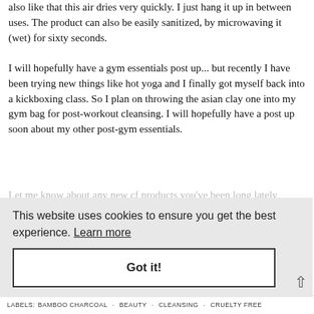also like that this air dries very quickly. I just hang it up in between uses. The product can also be easily sanitized, by microwaving it (wet) for sixty seconds.
I will hopefully have a gym essentials post up... but recently I have been trying new things like hot yoga and I finally got myself back into a kickboxing class. So I plan on throwing the asian clay one into my gym bag for post-workout cleansing. I will hopefully have a post up soon about my other post-gym essentials.
Let me know about any new cf products you've been loving lately in the comments below.
[Figure (screenshot): Cookie consent overlay with text 'This website uses cookies to ensure you get the best experience. Learn more' and a 'Got it!' button]
LABELS:  BAMBOO CHARCOAL  ·  BEAUTY  ·  CLEANSING  ·  CRUELTY FREE